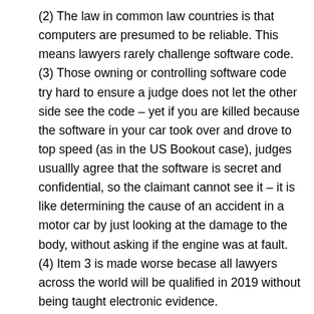(2) The law in common law countries is that computers are presumed to be reliable. This means lawyers rarely challenge software code. (3) Those owning or controlling software code try hard to ensure a judge does not let the other side see the code – yet if you are killed because the software in your car took over and drove to top speed (as in the US Bookout case), judges usuallly agree that the software is secret and confidential, so the claimant cannot see it – it is like determining the cause of an accident in a motor car by just looking at the damage to the body, without asking if the engine was at fault. (4) Item 3 is made worse becase all lawyers across the world will be qualified in 2019 without being taught electronic evidence.